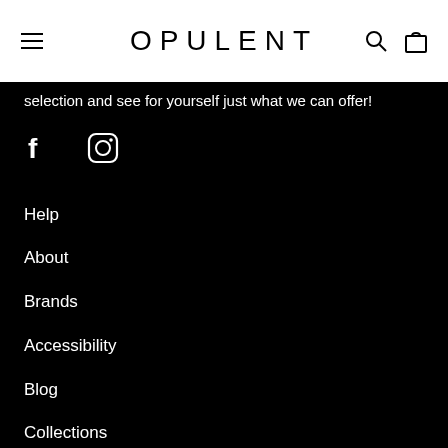OPULENT
selection and see for yourself just what we can offer!
[Figure (logo): Facebook and Instagram social media icons in white on black background]
Help
About
Brands
Accessibility
Blog
Collections
FAQ
Returns